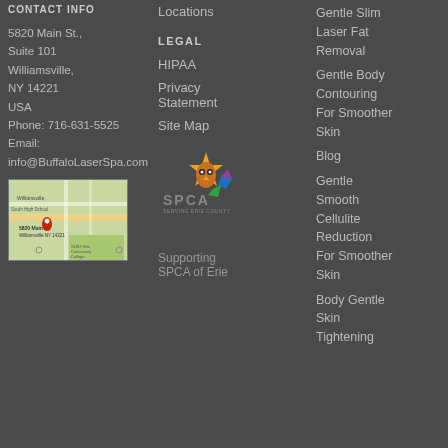CONTACT INFO
5820 Main St., Suite 101
Williamsville, NY 14221
USA
Phone: 716-631-5525
Email:
info@BuffaloLaserSpa.com
Locations
LEGAL
HIPAA
Privacy Statement
Site Map
[Figure (photo): SPCA of Erie County logo with owl and colorful star design]
[Figure (map): Google Maps embed showing 5820 Main St, Williamsville NY 14221 with red location pin]
Supporting SPCA of Erie
Gentle Slim Laser Fat Removal
Gentle Body Contouring For Smoother Skin
Blog
Gentle Smooth Cellulite Reduction For Smoother Skin
Body Gentle Skin Tightening